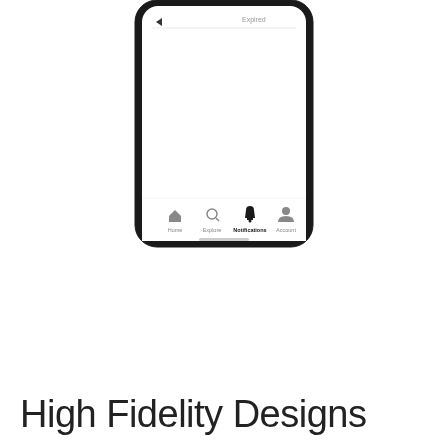[Figure (screenshot): Bottom portion of a smartphone mockup showing a mobile app interface with a bottom navigation bar containing Home, Explore, Notifications (bold/selected), and Account icons with labels. The phone has rounded corners and a thick black bezel.]
High Fidelity Designs